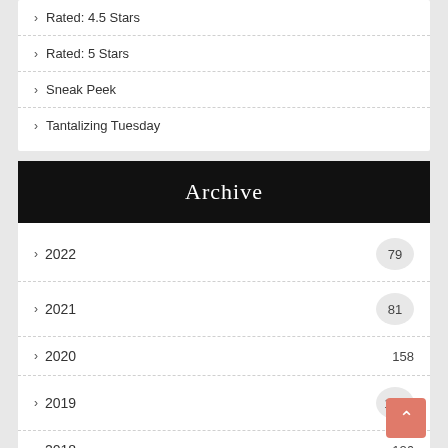> Rated: 4.5 Stars
> Rated: 5 Stars
> Sneak Peek
> Tantalizing Tuesday
Archive
> 2022   79
> 2021   81
> 2020   158
> 2019   105
> 2018   126
> 2017
> 2016   178